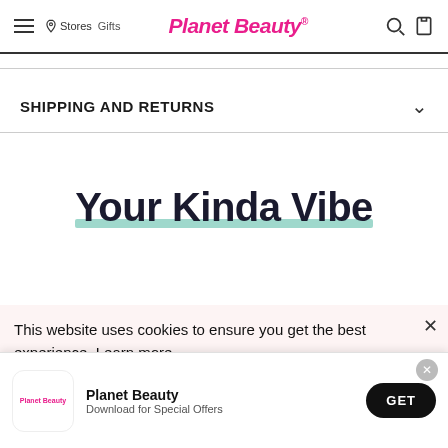Planet Beauty — Stores | Gifts | Beauty
SHIPPING AND RETURNS
Your Kinda Vibe
This website uses cookies to ensure you get the best experience. Learn more
Planet Beauty
Download for Special Offers
No.4